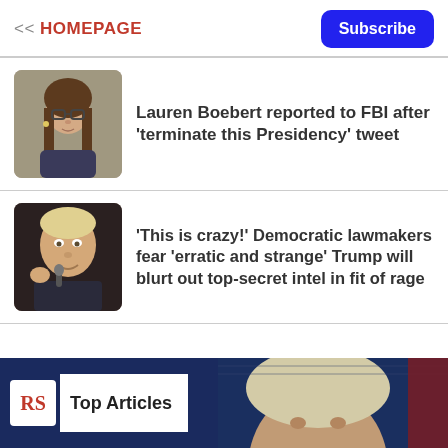<< HOMEPAGE
Subscribe
[Figure (photo): Photo of Lauren Boebert, a woman with long brown hair and glasses, serious expression]
Lauren Boebert reported to FBI after 'terminate this Presidency' tweet
[Figure (photo): Photo of Donald Trump speaking at a microphone, in suit with red tie, hand raised]
'This is crazy!' Democratic lawmakers fear 'erratic and strange' Trump will blurt out top-secret intel in fit of rage
[Figure (logo): RS logo with 'Top Articles' label on dark blue background, with a large photo below]
Top Articles